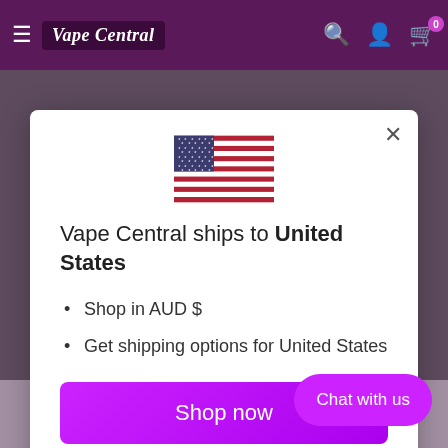Vape Central — navigation bar with logo, search, account, and cart icons
[Figure (screenshot): US flag emoji / icon centered in modal]
Vape Central ships to United States
Shop in AUD $
Get shipping options for United States
Shop now
Change shipping country
Chat with us